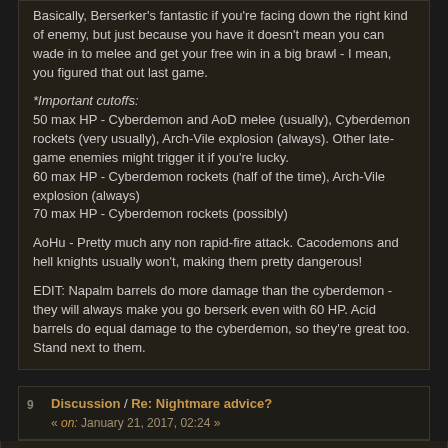Basically, Berserker's fantastic if you're facing down the right kind of enemy, but just because you have it doesn't mean you can wade in to melee and get your free win in a big brawl - I mean, you figured that out last game.

*Important cutoffs:
50 max HP - Cyberdemon and AoD melee (usually), Cyberdemon rockets (very usually), Arch-Vile explosion (always). Other late-game enemies might trigger it if you're lucky.
60 max HP - Cyberdemon rockets (half of the time), Arch-Vile explosion (always)
70 max HP - Cyberdemon rockets (possibly)

AoHu - Pretty much any non rapid-fire attack. Cacodemons and hell knights usually won't, making them pretty dangerous!

EDIT: Napalm barrels do more damage than the cyberdemon - they will always make you go berserk even with 60 HP. Acid barrels do equal damage to the cyberdemon, so they're great too. Stand next to them.
Discussion / Re: Nightmare advice? « on: January 21, 2017, 02:24 »
30 to 40% kills would be fine (perhaps even too low) if you were using guns, but it's way too high for the first few levels of N! AoB. You should play N! AoB as a scout (for stair sense) and never fight anything between dlvl 2 and 5 unless you have a really good reason to.